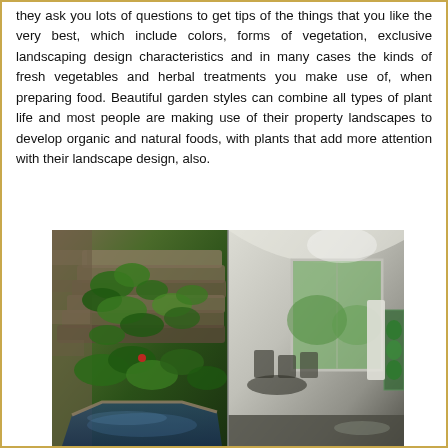they ask you lots of questions to get tips of the things that you like the very best, which include colors, forms of vegetation, exclusive landscaping design characteristics and in many cases the kinds of fresh vegetables and herbal treatments you make use of, when preparing food. Beautiful garden styles can combine all types of plant life and most people are making use of their property landscapes to develop organic and natural foods, with plants that add more attention with their landscape design, also.
[Figure (photo): Two-panel photo showing a lush indoor garden with rocky stone staircase, tropical ferns and plants with a decorative pond on the left, and a modern interior dining/living space with large windows and green aquarium on the right.]